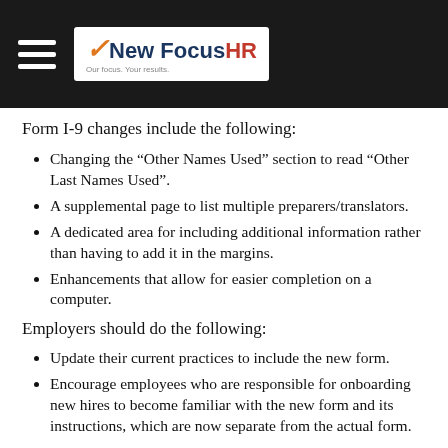New Focus HR — Our focus. Your results.
Form I-9 changes include the following:
Changing the “Other Names Used” section to read “Other Last Names Used”.
A supplemental page to list multiple preparers/translators.
A dedicated area for including additional information rather than having to add it in the margins.
Enhancements that allow for easier completion on a computer.
Employers should do the following:
Update their current practices to include the new form.
Encourage employees who are responsible for onboarding new hires to become familiar with the new form and its instructions, which are now separate from the actual form.